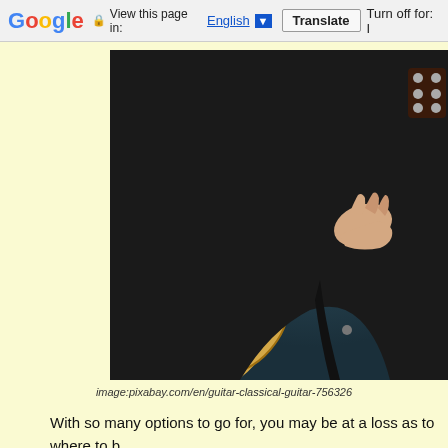Google  View this page in: English [▼]  Translate  Turn off for: I...
[Figure (photo): A person wearing a black leather jacket playing an acoustic guitar. The guitar has a light wood body and dark fretboard. The person's right hand is fretting near the body of the guitar while strings are visible across the neck. The background is dark teal/blue.]
image:pixabay.com/en/guitar-classical-guitar-756326
With so many options to go for, you may be at a loss as to where to b...